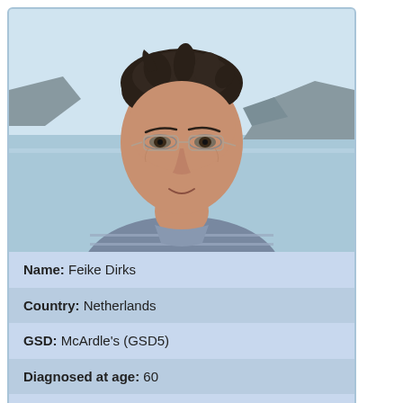[Figure (photo): Portrait photo of a middle-aged man with dark tousled hair and glasses, wearing a grey striped shirt and backpack, outdoors near coastal cliffs and water]
Name: Feike Dirks
Country: Netherlands
GSD: McArdle's (GSD5)
Diagnosed at age: 60
Age at writing: 63